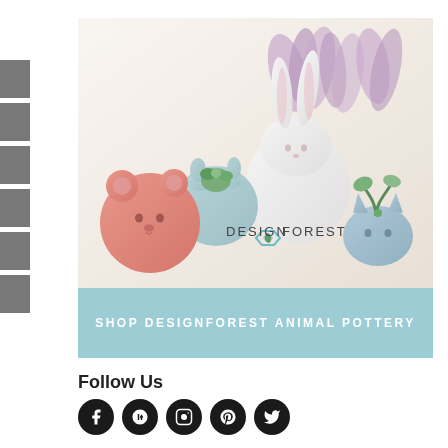[Figure (photo): Advertisement for Design Forest animal pottery showing four ceramic animal-shaped planters (pink bear, light blue round animal, white bunny, blue cat) with succulents and lavender, with Design Forest logo in the center and a teal banner at the bottom reading 'SHOP DESIGNFOREST ANIMAL POTTERY']
Follow Us
[Figure (illustration): Row of five social media icons (Facebook, Google+, Instagram, Pinterest, Twitter) shown as white symbols on black circular backgrounds]